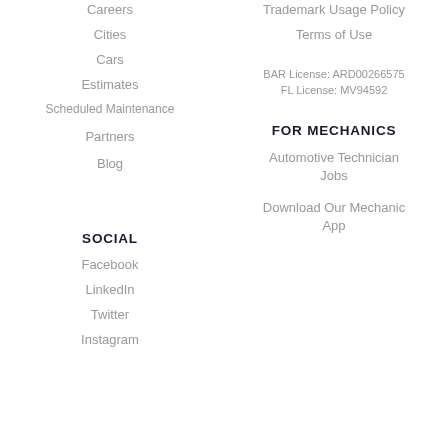Careers
Trademark Usage Policy
Cities
Terms of Use
Cars
BAR License: ARD00266575
FL License: MV94592
Estimates
Scheduled Maintenance
FOR MECHANICS
Partners
Automotive Technician Jobs
Blog
Download Our Mechanic App
SOCIAL
Facebook
LinkedIn
Twitter
Instagram